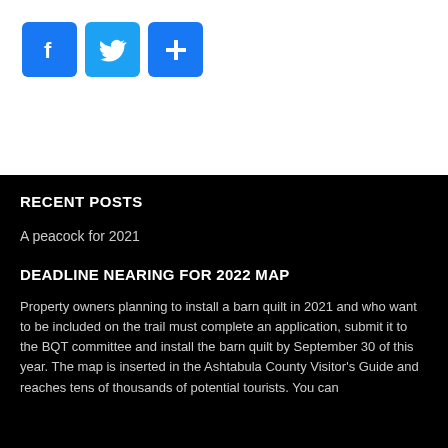[Figure (other): Three social media share buttons: Facebook (f icon), Twitter (bird icon), and a generic share (+) icon, each in a blue rounded square.]
RECENT POSTS
A peacock for 2021
DEADLINE NEARING FOR 2022 MAP
Property owners planning to install a barn quilt in 2021 and who want to be included on the trail must complete an application, submit it to the BQT committee and install the barn quilt by September 30 of this year. The map is inserted in the Ashtabula County Visitor's Guide and reaches tens of thousands of potential tourists. You can download the application from this site...